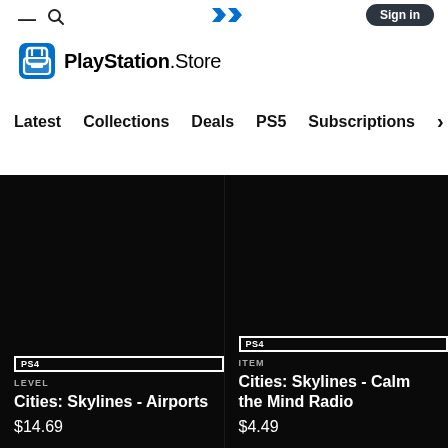PlayStation Store — Latest  Collections  Deals  PS5  Subscriptions
[Figure (logo): PlayStation Store logo with shopping bag icon, bold PlayStation text and .Store]
Latest   Collections   Deals   PS5   Subscriptions >
PS4  LEVEL  Cities: Skylines - Airports  $14.69
PS4  ITEM  Cities: Skylines - Calm the Mind Radio  $4.49